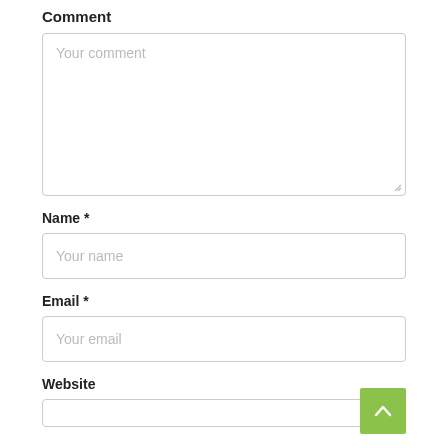Comment
Your comment
Name *
Your name
Email *
Your email
Website